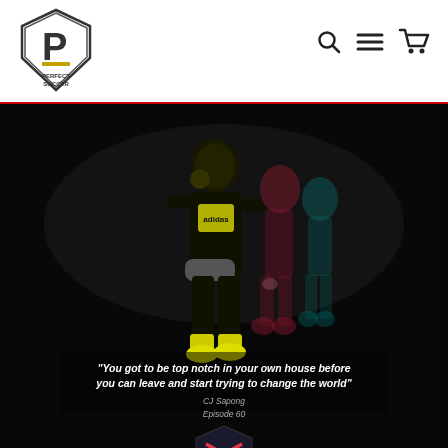Perfect Soccer logo with navigation icons (search, menu, cart)
[Figure (photo): Soccer player in yellow/black kit running, with motion blur effects showing multiple ghost images in red and cyan on a dark background. Quote text overlay at bottom: 'You got to be top notch in your own house before you can leave and start trying to change the world' - CJ Sapong, Episode 60. Perfect Soccer podcast logo at bottom center.]
"You got to be top notch in your own house before you can leave and start trying to change the world" CJ Sapong Episode 60